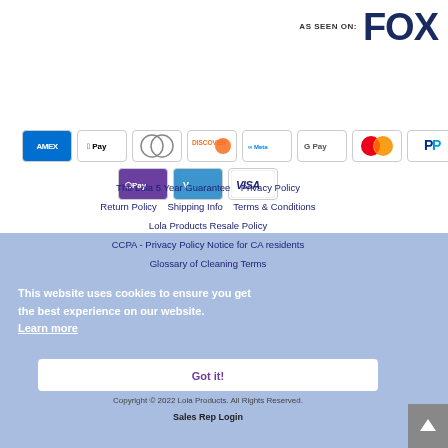[Figure (logo): AS SEEN ON: FOX logo in dark navy blue]
[Figure (infographic): Payment method icons: AMEX, Apple Pay, Diners Club, Discover, Meta, Google Pay, Mastercard, PayPal, OPay, Venmo, VISA]
The Lola 5 Year Guarantee    Privacy Policy
Return Policy    Shipping Info    Terms & Conditions
Lola Products Resale Policy
CCPA - Privacy Policy Notice for CA residents
Glossary of Cleaning Terms
This website uses cookies to ensure you get the best experience on our website.
Learn more
Got it!
Copyright © 2022 Lola Products. All Rights Reserved.
Sales Rep Login